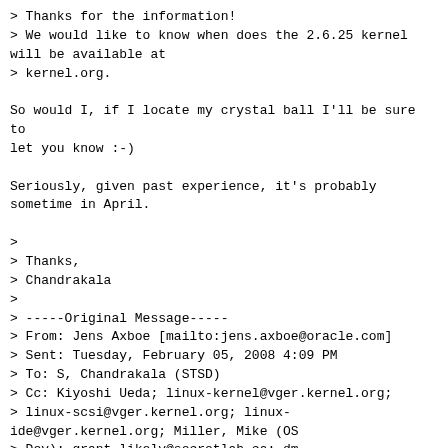> Thanks for the information!
> We would like to know when does the 2.6.25 kernel will be available at
> kernel.org.

So would I, if I locate my crystal ball I'll be sure to let you know :-)

Seriously, given past experience, it's probably sometime in April.

>
> Thanks,
> Chandrakala
>
> -----Original Message-----
> From: Jens Axboe [mailto:jens.axboe@oracle.com]
> Sent: Tuesday, February 05, 2008 4:09 PM
> To: S, Chandrakala (STSD)
> Cc: Kiyoshi Ueda; linux-kernel@vger.kernel.org;
> linux-scsi@vger.kernel.org; linux-ide@vger.kernel.org; Miller, Mike (OS
> Dev); grant.likely@secretlab.ca; dm-devel@redhat.com;
> j-nomura@ce.jp.nec.com
> Subject: Re: [PATCH 0/7] blk_end_request: full I/O completion handler
>
> On Tue, Feb 05 2008, S, Chandrakala (STSD) wrote:
> > Hello,
> >